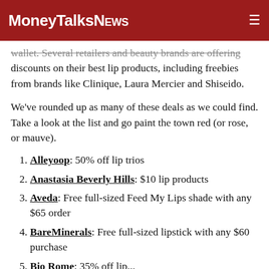MoneyTalksNews
wallet. Several retailers and beauty brands are offering discounts on their best lip products, including freebies from brands like Clinique, Laura Mercier and Shiseido.
We've rounded up as many of these deals as we could find. Take a look at the list and go paint the town red (or rose, or mauve).
Alleyoop: 50% off lip trios
Anastasia Beverly Hills: $10 lip products
Aveda: Free full-sized Feed My Lips shade with any $65 order
BareMinerals: Free full-sized lipstick with any $60 purchase
Bio Rome: 35% off lip...